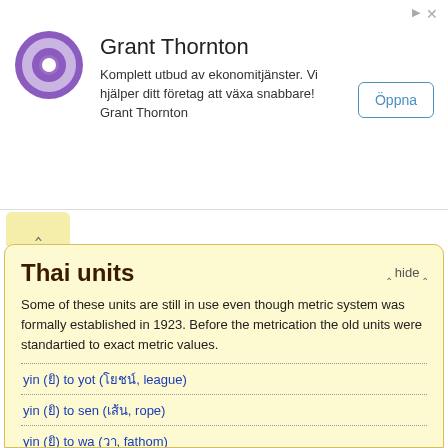[Figure (logo): Grant Thornton purple circular logo with white ring/hole in center]
Grant Thornton
Komplett utbud av ekonomitjänster. Vi hjälper ditt företag att växa snabbare! Grant Thornton
Öppna
Thai units
hide
Some of these units are still in use even though metric system was formally established in 1923. Before the metrication the old units were standartied to exact metric values.
yin (ยิ) to yot (โยชน์, league)
yin (ยิ) to sen (เส้น, rope)
yin (ยิ) to wa (วา, fathom)
yin (ยิ) to sok (ศอก, cubit)
yin (ยิ) to khuep (คืบ, span)
yin (ยิ) to nio (นิ้ว, finger)
yin (ยิ) to krabiat (กระเบียด, quarter of a finger)